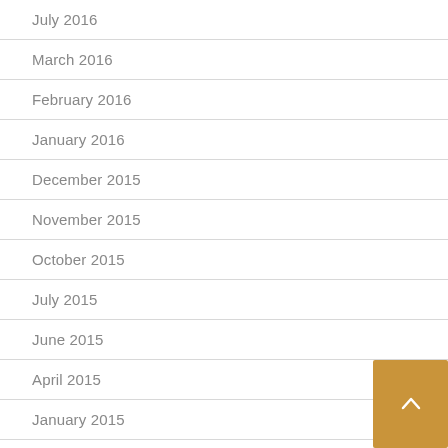July 2016
March 2016
February 2016
January 2016
December 2015
November 2015
October 2015
July 2015
June 2015
April 2015
January 2015
December 2014